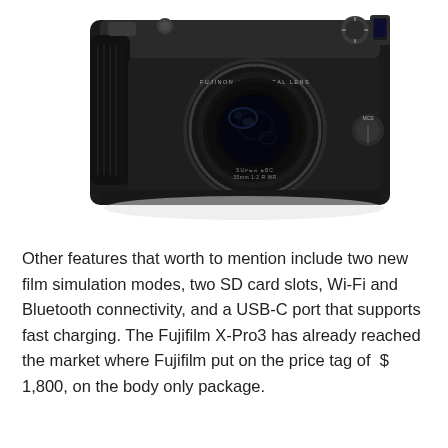[Figure (photo): A black Fujifilm X-Pro3 mirrorless camera with a 35mm f/1.2 Super EBC aspherical lens, photographed from a front-top angle showing the top controls and viewfinder.]
Other features that worth to mention include two new film simulation modes, two SD card slots, Wi-Fi and Bluetooth connectivity, and a USB-C port that supports fast charging. The Fujifilm X-Pro3 has already reached the market where Fujifilm put on the price tag of  $ 1,800, on the body only package.